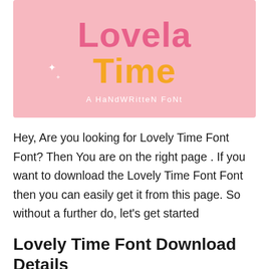[Figure (illustration): Pink banner with decorative handwritten-style text reading 'Lovela Time - A Handwritten Font' with pink and yellow lettering on a light pink background with white sparkle decorations]
Hey, Are you looking for Lovely Time Font Font? Then You are on the right page . If you want to download the Lovely Time Font Font then you can easily get it from this page. So without a further do, let's get started
Lovely Time Font Download Details